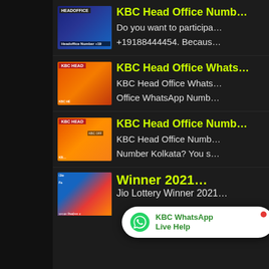[Figure (screenshot): Search results listing for KBC Head Office Number with thumbnail images and text snippets on dark background]
KBC Head Office Numb...
Do you want to participa... +19188444454. Becaus...
KBC Head Office Whats...
KBC Head Office Whats... Office WhatsApp Numb...
KBC Head Office Numb...
KBC Head Office Numb... Number Kolkata? You s...
Winner 2021...
Jio Lottery Winner 2021...
[Figure (screenshot): KBC WhatsApp Live Help popup button with WhatsApp icon in white rounded pill shape]